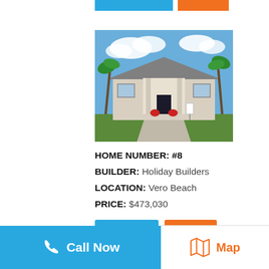[Figure (photo): Exterior photo of a single-story residential home with palm trees and blue sky, Home #8 by Holiday Builders in Vero Beach]
HOME NUMBER: #8
BUILDER: Holiday Builders
LOCATION: Vero Beach
PRICE: $473,030
View Model
+ My Tour
Call Now
Map